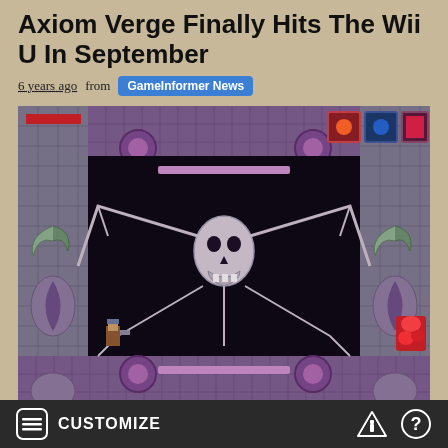Axiom Verge Finally Hits The Wii U In September
6 years ago from GameInformer News
[Figure (screenshot): Screenshot of Axiom Verge video game showing a Metroid-style level with purple/grey tiled dungeon environment, a large skull-like boss creature in the center, player character in bottom-left, and HUD elements in top corners]
Developer   Thomas   Happ's   Metroid-inspired   indie
CUSTOMIZE